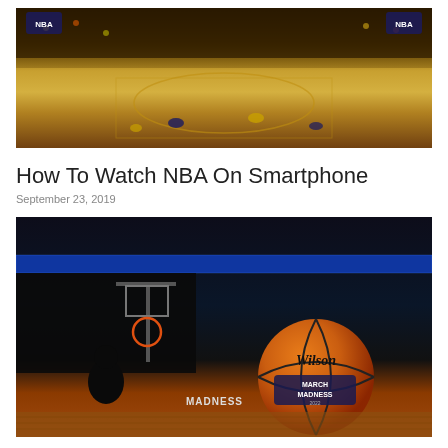[Figure (photo): NBA arena overhead view showing basketball court with players warming up, crowded stands with fans, NBA logo visible]
How To Watch NBA On Smartphone
September 23, 2019
[Figure (photo): Indoor basketball arena with a Wilson March Madness basketball in foreground on hardwood court, basketball hoop visible in background]
31 Movies Inspired by the Trajectory of NBA Athletes